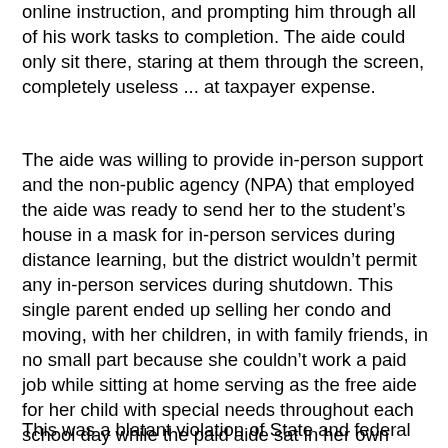online instruction, and prompting him through all of his work tasks to completion. The aide could only sit there, staring at them through the screen, completely useless ... at taxpayer expense.
The aide was willing to provide in-person support and the non-public agency (NPA) that employed the aide was ready to send her to the student's house in a mask for in-person services during distance learning, but the district wouldn't permit any in-person services during shutdown. This single parent ended up selling her condo and moving, with her children, in with family friends, in no small part because she couldn't work a paid job while sitting at home serving as the free aide for her child with special needs throughout each school day while the paid aide sat in her own home on Zoom, unable to do her actual job.
This was a blatant violation of State and federal law that the